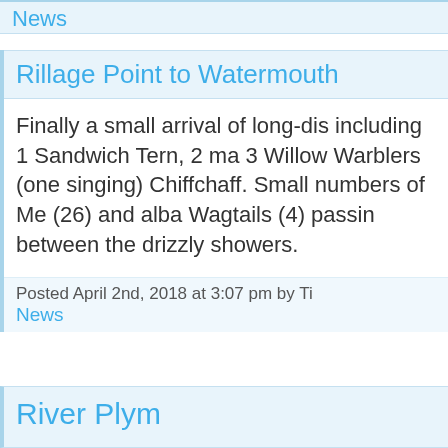News
Rillage Point to Watermouth
Finally a small arrival of long-dis including 1 Sandwich Tern, 2 ma 3 Willow Warblers (one singing) Chiffchaff. Small numbers of Me (26) and alba Wagtails (4) passin between the drizzly showers.
Posted April 2nd, 2018 at 3:07 pm by Ti
News
River Plym